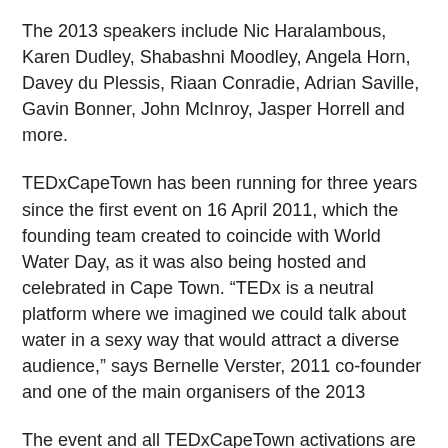The 2013 speakers include Nic Haralambous, Karen Dudley, Shabashni Moodley, Angela Horn, Davey du Plessis, Riaan Conradie, Adrian Saville, Gavin Bonner, John McInroy, Jasper Horrell and more.
TEDxCapeTown has been running for three years since the first event on 16 April 2011, which the founding team created to coincide with World Water Day, as it was also being hosted and celebrated in Cape Town. “TEDx is a neutral platform where we imagined we could talk about water in a sexy way that would attract a diverse audience,” says Bernelle Verster, 2011 co-founder and one of the main organisers of the 2013
The event and all TEDxCapeTown activations are curated and delivered by a group of dedicated and committed volunteers who are professionals in their respective industries. The team behind TEDxCapeTown are enthusiastic, ‘disruptive’ big-thinking individuals who strive to leverage opportunities, inspire connection and